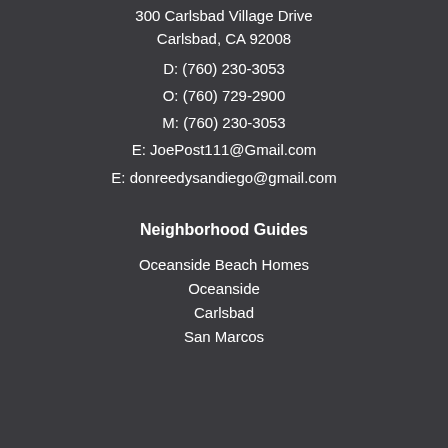300 Carlsbad Village Drive
Carlsbad, CA 92008
D: (760) 230-3053
O: (760) 729-2900
M: (760) 230-3053
E: JoePost111@Gmail.com
E: donreedysandiego@gmail.com
Neighborhood Guides
Oceanside Beach Homes
Oceanside
Carlsbad
San Marcos